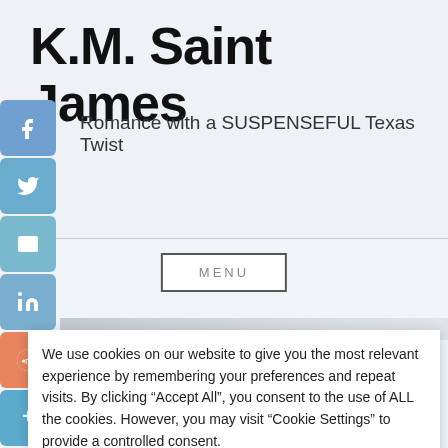K.M. Saint James
Romance with a SUSPENSEFUL Texas Twist
[Figure (screenshot): Social media share icons on left sidebar: Facebook, Twitter, Email, LinkedIn, Reddit, Google+]
MENU
We use cookies on our website to give you the most relevant experience by remembering your preferences and repeat visits. By clicking “Accept All”, you consent to the use of ALL the cookies. However, you may visit "Cookie Settings" to provide a controlled consent.
Cookie Settings
Accept All